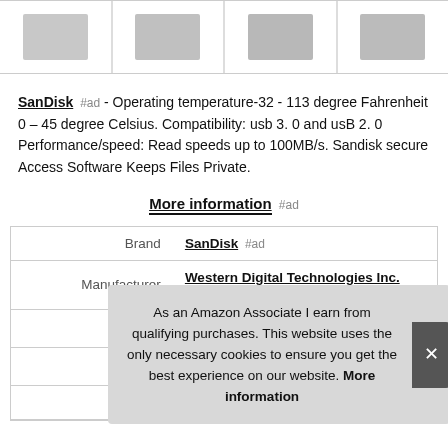[Figure (photo): Four product images of SanDisk USB flash drives shown in a row]
SanDisk #ad - Operating temperature-32 - 113 degree Fahrenheit 0 – 45 degree Celsius. Compatibility: usb 3. 0 and usB 2. 0 Performance/speed: Read speeds up to 100MB/s. Sandisk secure Access Software Keeps Files Private.
More information #ad
| Label | Value |
| --- | --- |
| Brand | SanDisk #ad |
| Manufacturer | Western Digital Technologies Inc. #ad |
| Width | 0.87 Inches |
As an Amazon Associate I earn from qualifying purchases. This website uses the only necessary cookies to ensure you get the best experience on our website. More information